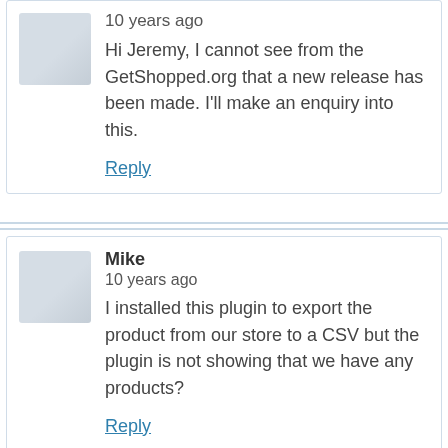10 years ago
Hi Jeremy, I cannot see from the GetShopped.org that a new release has been made. I'll make an enquiry into this.
Reply
Mike
10 years ago
I installed this plugin to export the product from our store to a CSV but the plugin is not showing that we have any products?
Reply
Michael Visser
10 years ago